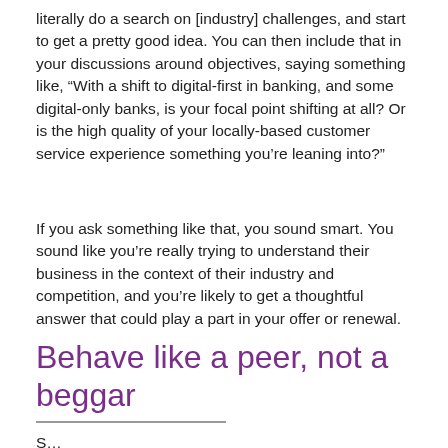literally do a search on [industry] challenges, and start to get a pretty good idea. You can then include that in your discussions around objectives, saying something like, “With a shift to digital-first in banking, and some digital-only banks, is your focal point shifting at all? Or is the high quality of your locally-based customer service experience something you’re leaning into?”
If you ask something like that, you sound smart. You sound like you’re really trying to understand their business in the context of their industry and competition, and you’re likely to get a thoughtful answer that could play a part in your offer or renewal.
Behave like a peer, not a beggar
S...